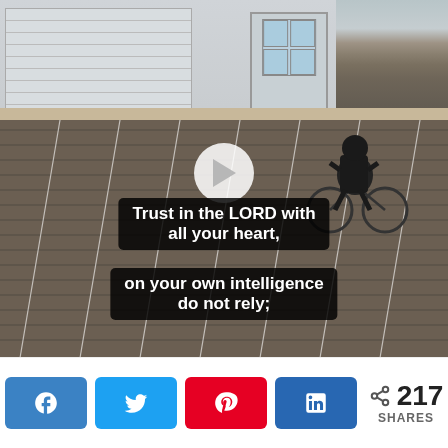[Figure (photo): A person in a black hoodie riding a bicycle in an empty parking lot / boardwalk area. Behind them are garage/shutter doors and a side door with windows. A white play button overlay is centered on the image. Two text overlays appear at the bottom: 'Trust in the LORD with all your heart,' and 'on your own intelligence do not rely;']
Trust in the LORD with all your heart,
on your own intelligence do not rely;
< 217 SHARES